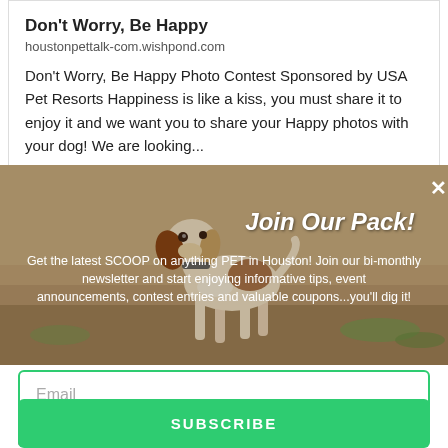Don't Worry, Be Happy
houstonpettalk-com.wishpond.com
Don't Worry, Be Happy Photo Contest Sponsored by USA Pet Resorts Happiness is like a kiss, you must share it to enjoy it and we want you to share your Happy photos with your dog! We are looking...
[Figure (photo): A dog standing in an outdoor field, overlaid with a newsletter signup modal. The modal shows 'Join Our Pack!' as header text and promotional text about a pet newsletter in Houston.]
Join Our Pack!
Get the latest SCOOP on anything PET in Houston! Join our bi-monthly newsletter and start enjoying informative tips, event announcements, contest entries and valuable coupons...you'll dig it!
Email
Opt in to receive news and updates.
SUBSCRIBE